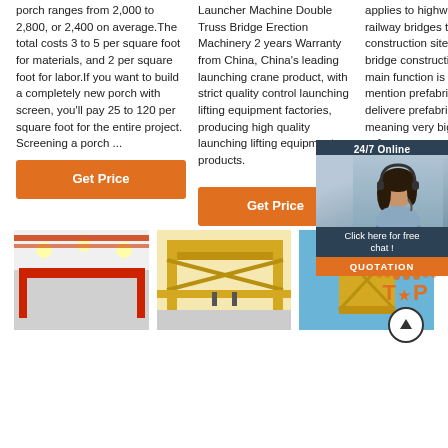porch ranges from 2,000 to 2,800, or 2,400 on average.The total costs 3 to 5 per square foot for materials, and 2 per square foot for labor.If you want to build a completely new porch with screen, you'll pay 25 to 120 per square foot for the entire project. Screening a porch ...
Launcher Machine Double Truss Bridge Erection Machinery 2 years Warranty from China, China's leading launching crane product, with strict quality control launching lifting equipment factories, producing high quality launching lifting equipment products.
applies to highway, railway bridges to the construction site of bridge construction, its main function is to mention prefabri beam sl delivere prefabri piers.it a meaning very big high saf
[Figure (other): Chat widget overlay showing '24/7 Online' header, female agent photo, 'Click here for free chat!' text, and orange QUOTATION button]
[Figure (other): TOP button graphic with orange dots arranged in arc above bold orange TOP text and upward arrow in circle]
[Figure (photo): Industrial crane photo showing red overhead crane in warehouse with white ceiling]
[Figure (photo): Industrial crane photo showing yellow overhead crane structure]
[Figure (photo): Bridge erection machinery photo showing yellow crane equipment against blue sky]